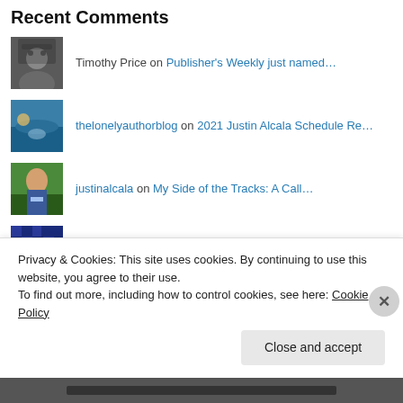Recent Comments
Timothy Price on Publisher's Weekly just named…
thelonelyauthorblog on 2021 Justin Alcala Schedule Re…
justinalcala on My Side of the Tracks: A Call…
Melisa Estrada on My Side of the Tracks: A Call…
Justin Alcala on As I Sit in the Hall: A Call f…
Privacy & Cookies: This site uses cookies. By continuing to use this website, you agree to their use.
To find out more, including how to control cookies, see here: Cookie Policy
Close and accept